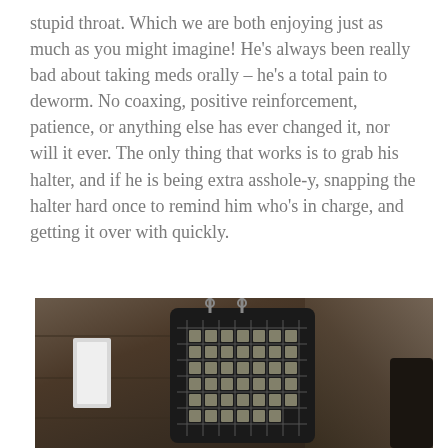stupid throat. Which we are both enjoying just as much as you might imagine! He's always been really bad about taking meds orally – he's a total pain to deworm. No coaxing, positive reinforcement, patience, or anything else has ever changed it, nor will it ever. The only thing that works is to grab his halter, and if he is being extra asshole-y, snapping the halter hard once to remind him who's in charge, and getting it over with quickly.
[Figure (photo): A black hay net or similar mesh bag hanging in a wooden barn stall, with a white object visible on the left side and wooden walls in the background.]